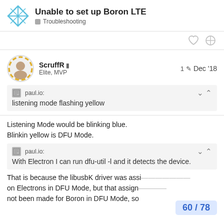Unable to set up Boron LTE — Troubleshooting
ScruffR (Elite, MVP) — 1 edit — Dec '18
paul.io: listening mode flashing yellow
Listening Mode would be blinking blue.
Blinkin yellow is DFU Mode.
paul.io: With Electron I can run dfu-util -l and it detects the device.
That is because the libusbK driver was assigned to be applied on Electrons in DFU Mode, but that assign... not been made for Boron in DFU Mode, so
60 / 78